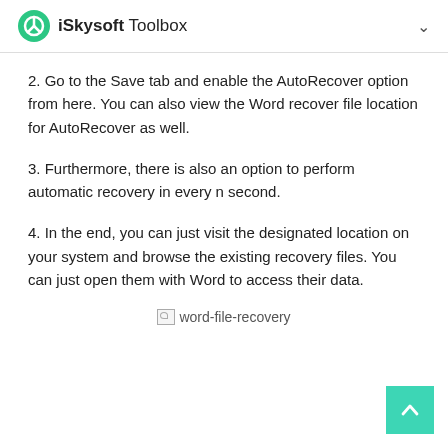iSkysoft Toolbox
2. Go to the Save tab and enable the AutoRecover option from here. You can also view the Word recover file location for AutoRecover as well.
3. Furthermore, there is also an option to perform automatic recovery in every n second.
4. In the end, you can just visit the designated location on your system and browse the existing recovery files. You can just open them with Word to access their data.
[Figure (other): Broken image placeholder labeled word-file-recovery]